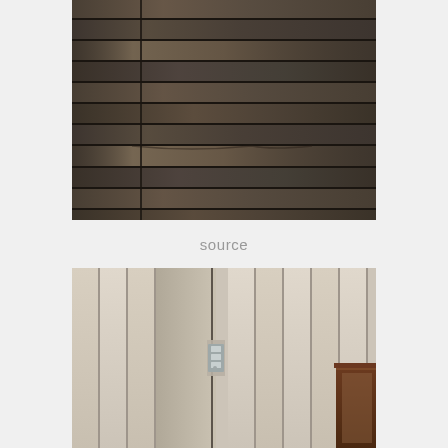[Figure (photo): Close-up photograph of horizontal dark grey/brown wood plank siding or cladding with black shadow gaps between planks, showing wood grain texture]
source
[Figure (photo): Photograph of vertical light grey/white wood plank siding with a partially open hinged door or panel showing a door hinge mechanism in the center]